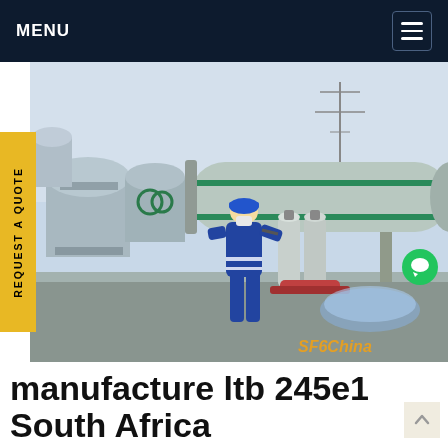MENU
[Figure (photo): Industrial worker in blue coveralls and hard hat operating SF6 gas equipment at a high-voltage substation with large pipes, cylinders, and machinery. Watermark: SF6China]
manufacture ltb 245e1 South Africa